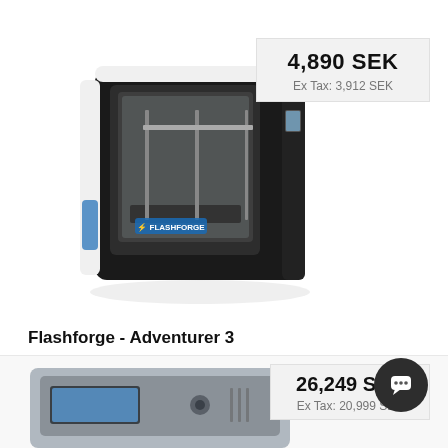[Figure (photo): Photo of a Flashforge Adventurer 3 3D printer, black and white cube-shaped enclosure with transparent front panel]
4,890 SEK
Ex Tax: 3,912 SEK
Flashforge - Adventurer 3
[Figure (other): Star (rating) icon and refresh/compare icon row]
[Figure (photo): Partial photo of another 3D printer product at bottom of page, with price overlay showing 26,249 SEK and Ex Tax: 20,999 SEK]
26,249 SEK
Ex Tax: 20,999 SEK